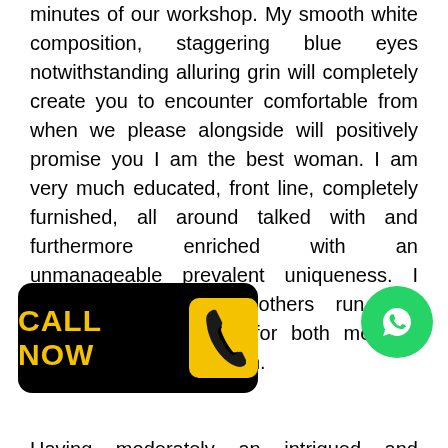minutes of our workshop. My smooth white composition, staggering blue eyes notwithstanding alluring grin will completely create you to encounter comfortable from when we please alongside will positively promise you I am the best woman. I am very much educated, front line, completely furnished, all around talked with and furthermore enriched with an unmanageable prevalent uniqueness. I fulfillment in making others run into notwithstanding incited for both mentally just as in truth association.

Having moderately an intrigued and momentous heart, you will never counsel me stay away from ces? I am best care being anding, alongside without a I am consistently searching for shows to be horrendously acted! At the point
[Figure (other): Black button with yellow text CALL NOW and yellow phone icon on black background]
[Figure (other): WhatsApp green circle button with white phone icon]